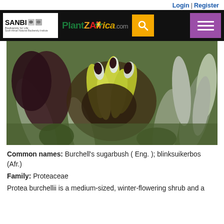Login | Register
[Figure (logo): SANBI and PlantZAfrica.com navigation bar with search and menu buttons]
[Figure (photo): Close-up photograph of Protea burchellii (Burchell's sugarbush) flower head showing yellow, dark maroon, and grey-green bracts and leaves]
Common names: Burchell's sugarbush ( Eng. ); blinksuikerbos (Afr.)
Family: Proteaceae
Protea burchellii is a medium-sized, winter-flowering shrub and a